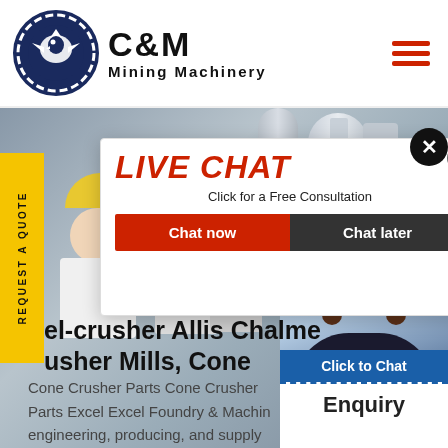[Figure (logo): C&M Mining Machinery logo with eagle/gear emblem in dark blue circle, company name in bold black text]
[Figure (photo): Industrial mining machinery/mill equipment in background with workers wearing yellow hard hats in foreground]
[Figure (infographic): Live chat popup overlay showing LIVE CHAT in red italic text, 'Click for a Free Consultation', Chat now (red button) and Chat later (dark button). Hours online banner in blue. Support agent photo woman with headset. Click to Chat button. Enquiry bar.]
el-crusher Allis Chalme usher Mills, Cone
Cone Crusher Parts Cone Crusher Parts Excel Excel Foundry & Machin engineering, producing, and supply